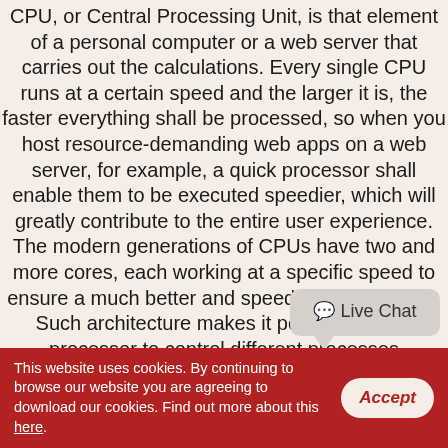CPU, or Central Processing Unit, is that element of a personal computer or a web server that carries out the calculations. Every single CPU runs at a certain speed and the larger it is, the faster everything shall be processed, so when you host resource-demanding web apps on a web server, for example, a quick processor shall enable them to be executed speedier, which will greatly contribute to the entire user experience. The modern generations of CPUs have two and more cores, each working at a specific speed to ensure a much better and speedier performance. Such architecture makes it possible for the processor to control different processes simultaneously or a number of cores to manage 1 process if it needs extra computing power in order to be carried out. Needless to say, other variables including the amount of RAM or the connection that a given hosting server uses could also affect the performance of the Internet sites hosted on it.
[Figure (other): Live Chat speech bubble overlay with chat icon and text 'Live Chat']
This website uses cookies. By continuing to browse our website you are agreeing to download our cookies. Find out more about this here.